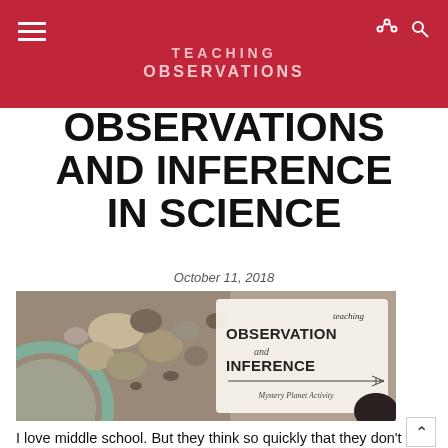TEACHING OBSERVATIONS
OBSERVATIONS AND INFERENCE IN SCIENCE
October 11, 2018
[Figure (photo): Photo of rocks, soil, and a magnifying glass on a grid surface, with an overlay card reading 'teaching OBSERVATION and INFERENCE – Mystery Planet Activity']
I love middle school. But they think so quickly that they don't necessarily think